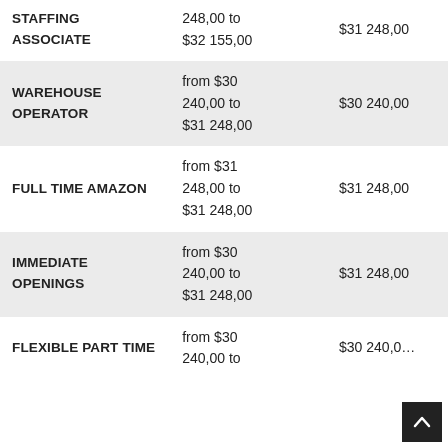| Job Title | Salary Range |  |
| --- | --- | --- |
| STAFFING ASSOCIATE | 248,00 to $32 155,00 | $31 248,00 |
| WAREHOUSE OPERATOR | from $30 240,00 to $31 248,00 | $30 240,00 |
| FULL TIME AMAZON | from $31 248,00 to $31 248,00 | $31 248,00 |
| IMMEDIATE OPENINGS | from $30 240,00 to $31 248,00 | $31 248,00 |
| FLEXIBLE PART TIME | from $30 240,00 to | $30 240,0… |